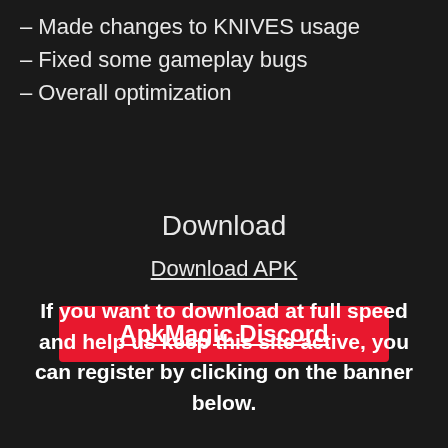– Made changes to KNIVES usage
– Fixed some gameplay bugs
– Overall optimization
Download
Download APK
ApkMagic Discord
If you want to download at full speed and help us keep this site active, you can register by clicking on the banner below.